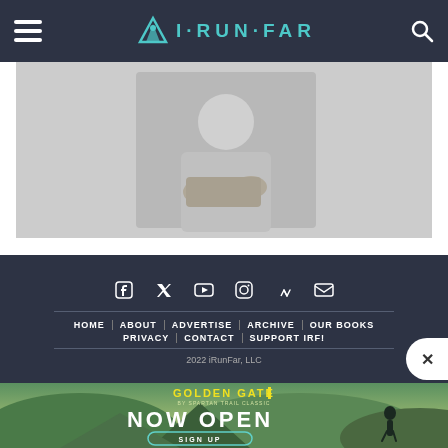I·RUN·FAR
[Figure (photo): A person in athletic gear, muted grays, partial view — article hero image]
[Figure (screenshot): Footer navigation section with social icons (Facebook, Twitter, YouTube, Instagram, Strava, Email), nav links: HOME | ABOUT | ADVERTISE | ARCHIVE | OUR BOOKS | PRIVACY | CONTACT | SUPPORT IRF!, and copyright 2022 iRunFar, LLC]
[Figure (photo): Golden Gate by Spartan Trail Classic advertisement banner with text NOW OPEN and SIGN UP button, showing trail running landscape]